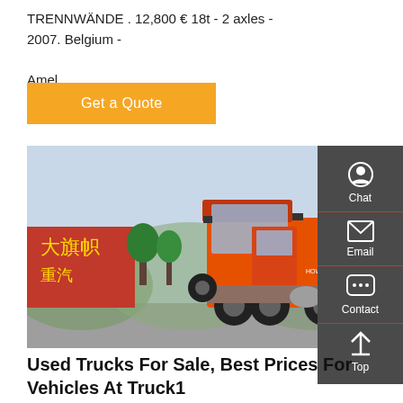TRENNWÄNDE . 12,800 € 18t - 2 axles - 2007. Belgium - Amel
Get a Quote
[Figure (photo): Orange heavy-duty truck (tractor unit) parked in a yard with a red banner with Chinese characters and green trees in the background. The truck has 6 wheels visible.]
Used Trucks For Sale, Best Prices For Vehicles At Truck1